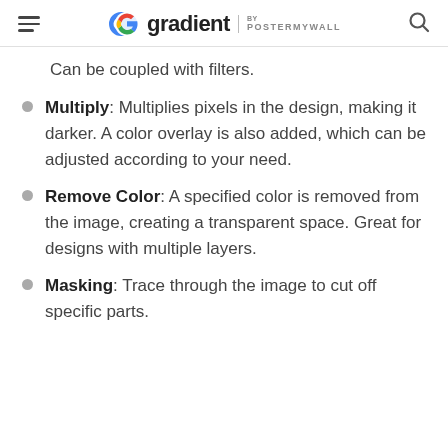gradient by POSTERMYWALL
Can be coupled with filters.
Multiply: Multiplies pixels in the design, making it darker. A color overlay is also added, which can be adjusted according to your need.
Remove Color: A specified color is removed from the image, creating a transparent space. Great for designs with multiple layers.
Masking: Trace through the image to cut off specific parts.